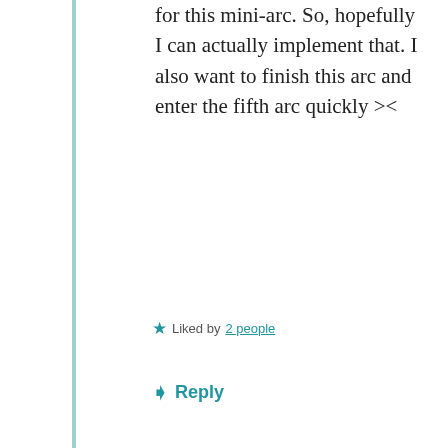for this mini-arc. So, hopefully I can actually implement that. I also want to finish this arc and enter the fifth arc quickly ><
Liked by 2 people
Reply
mernaruki
June 17, 2019 at 7:14 pm
Thanks for the chapter~
Advertisements